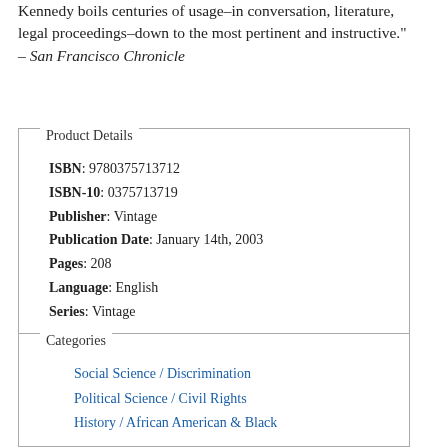Kennedy boils centuries of usage–in conversation, literature, legal proceedings–down to the most pertinent and instructive." – San Francisco Chronicle
Product Details
| ISBN | 9780375713712 |
| ISBN-10 | 0375713719 |
| Publisher | Vintage |
| Publication Date | January 14th, 2003 |
| Pages | 208 |
| Language | English |
| Series | Vintage |
Categories
Social Science / Discrimination
Political Science / Civil Rights
History / African American & Black